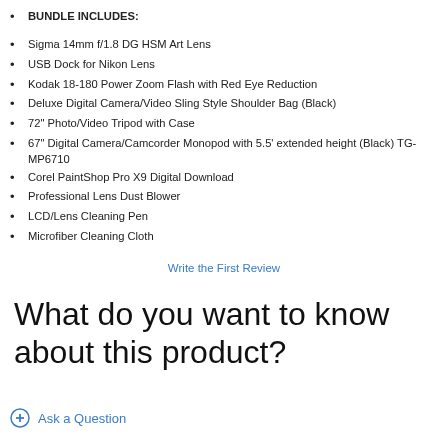BUNDLE INCLUDES:
Sigma 14mm f/1.8 DG HSM Art Lens
USB Dock for Nikon Lens
Kodak 18-180 Power Zoom Flash with Red Eye Reduction
Deluxe Digital Camera/Video Sling Style Shoulder Bag (Black)
72" Photo/Video Tripod with Case
67" Digital Camera/Camcorder Monopod with 5.5' extended height (Black) TG-MP6710
Corel PaintShop Pro X9 Digital Download
Professional Lens Dust Blower
LCD/Lens Cleaning Pen
Microfiber Cleaning Cloth
Write the First Review
What do you want to know about this product?
Ask a Question